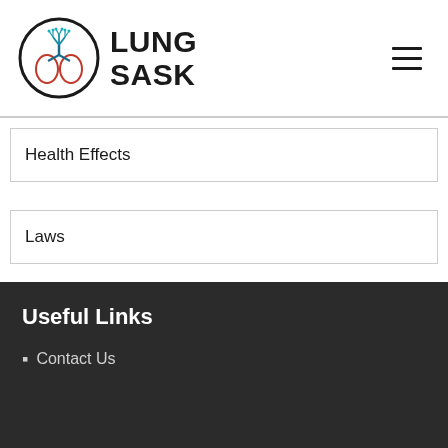LUNG SASK
Health Effects
Laws
Quitting Smoking
Useful Links
Contact Us